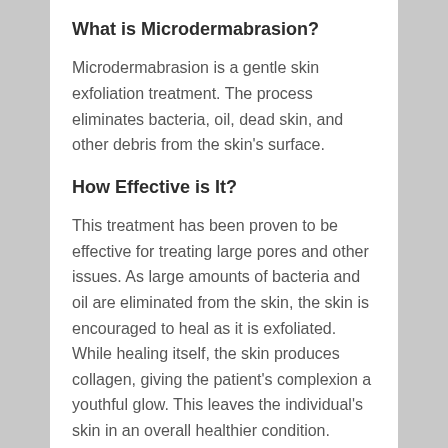What is Microdermabrasion?
Microdermabrasion is a gentle skin exfoliation treatment. The process eliminates bacteria, oil, dead skin, and other debris from the skin's surface.
How Effective is It?
This treatment has been proven to be effective for treating large pores and other issues. As large amounts of bacteria and oil are eliminated from the skin, the skin is encouraged to heal as it is exfoliated. While healing itself, the skin produces collagen, giving the patient's complexion a youthful glow. This leaves the individual's skin in an overall healthier condition.
What are the Benefits?